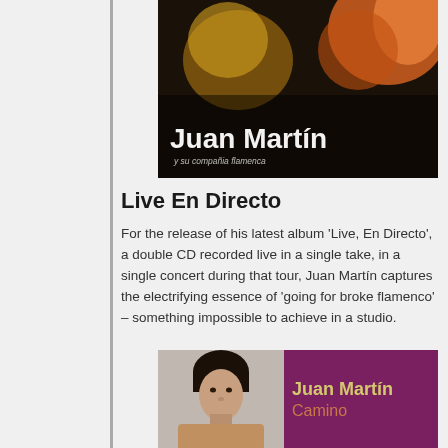[Figure (photo): Album cover for Juan Martín showing text 'Juan Martín y su compañia flamenca' on a dark background with orange/flame imagery]
Live En Directo
For the release of his latest album 'Live, En Directo', a double CD recorded live in a single take, in a single concert during that tour, Juan Martín captures the electrifying essence of 'going for broke flamenco' – something impossible to achieve in a studio.
[Figure (photo): Album cover for Juan Martín 'Camino' showing a man with a guitar on the left half and purple background with gold and orange text on the right half]